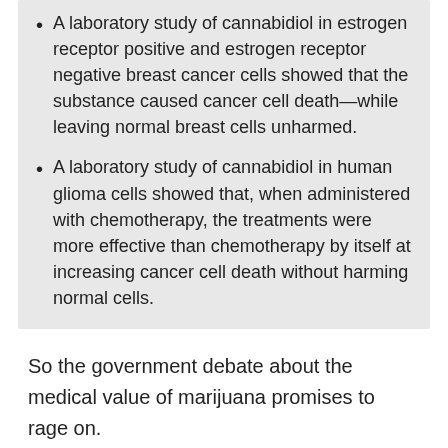A laboratory study of cannabidiol in estrogen receptor positive and estrogen receptor negative breast cancer cells showed that the substance caused cancer cell death—while leaving normal breast cells unharmed.
A laboratory study of cannabidiol in human glioma cells showed that, when administered with chemotherapy, the treatments were more effective than chemotherapy by itself at increasing cancer cell death without harming normal cells.
So the government debate about the medical value of marijuana promises to rage on.
But now you're aware of research that shows